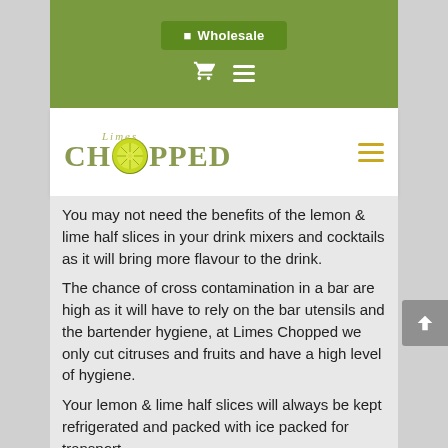Wholesale | Limes Chopped
[Figure (logo): Limes Chopped logo with lime slice replacing the O in CHOPPED]
You may not need the benefits of the lemon & lime half slices in your drink mixers and cocktails as it will bring more flavour to the drink.
The chance of cross contamination in a bar are high as it will have to rely on the bar utensils and the bartender hygiene, at Limes Chopped we only cut citruses and fruits and have a high level of hygiene.
Your lemon & lime half slices will always be kept refrigerated and packed with ice packed for transport.